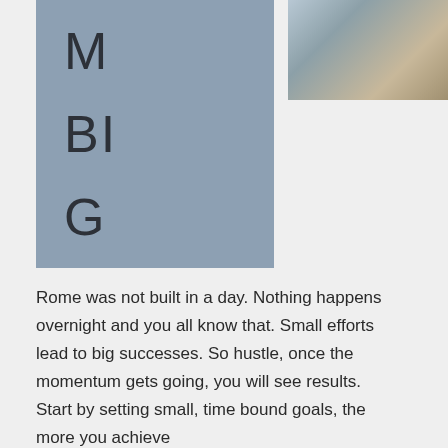[Figure (photo): Photo of textured natural materials in top right corner, grey and brown tones]
[Figure (illustration): Blue-gray card with large letters M, BI, G arranged vertically — partial word visible, likely 'LAMBIG' or similar acronym]
Rome was not built in a day. Nothing happens overnight and you all know that. Small efforts lead to big successes. So hustle, once the momentum gets going, you will see results. Start by setting small, time bound goals, the more you achieve